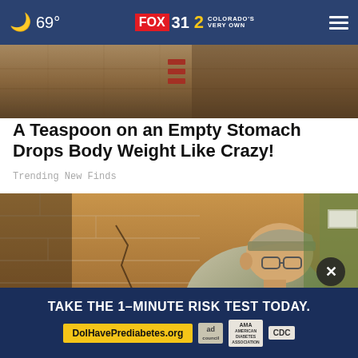69° FOX 31 2 COLORADO'S VERY OWN
[Figure (photo): Partial view of cardboard box with red markings against a brown background]
A Teaspoon on an Empty Stomach Drops Body Weight Like Crazy!
Trending New Finds
[Figure (photo): Military/Air Force service member in camouflage uniform inspecting a brick wall]
TAKE THE 1-MINUTE RISK TEST TODAY. DoIHavePrediabetes.org